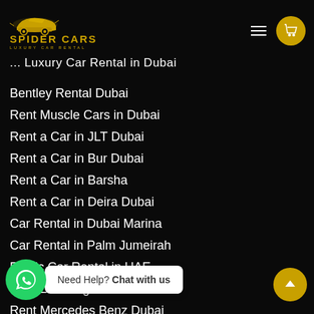[Figure (logo): Spider Cars luxury car rental logo with golden car silhouette and golden text]
... Luxury Car Rental in Dubai
Bentley Rental Dubai
Rent Muscle Cars in Dubai
Rent a Car in JLT Dubai
Rent a Car in Bur Dubai
Rent a Car in Barsha
Rent a Car in Deira Dubai
Car Rental in Dubai Marina
Car Rental in Palm Jumeirah
Exotic Car Rental in UAE
Rent Lamborghini Dubai
Rent Mercedes Benz Dubai
Rent Ferrari Dubai
Rent Rolls Royce Dubai